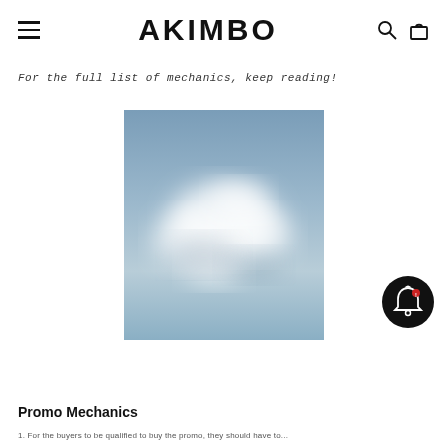AKIMBO
For the full list of mechanics, keep reading!
[Figure (photo): Blurred blue sky with soft white clouds, portrait orientation]
[Figure (illustration): Black circular bell notification icon badge]
Promo Mechanics
1. For the buyers to be qualified to buy the promo, they should have to...